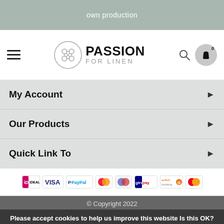own production
[Figure (logo): Passion For Linen logo with circular icon and hamburger menu, search icon, and cart icon]
My Account
Our Products
Quick Link To
[Figure (infographic): Payment method logos: iDEAL, VISA, PayPal, Mastercard, Maestro, Giropay, Sofort, Mastercard]
© Copyright 2022
Please accept cookies to help us improve this website Is this OK?
Yes   No   More on cookies »